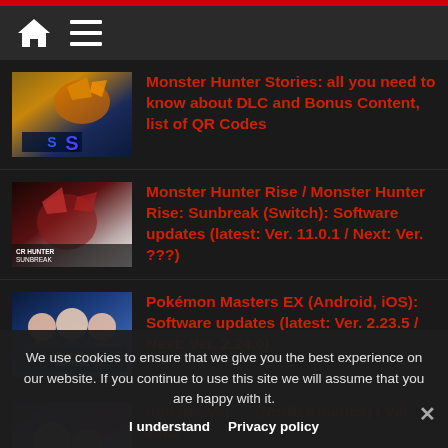Navigation header with home and menu icons
Monster Hunter Stories: all you need to know about DLC and Bonus Content, list of QR Codes
Monster Hunter Rise / Monster Hunter Rise: Sunbreak (Switch): Software updates (latest: Ver. 11.0.1 / Next: Ver. ???)
Pokémon Masters EX (Android, iOS): Software updates (latest: Ver. 2.23.5 / Next: Ver. 2.24.0)
update: Ver. ... (North America) / Ver. 4.0.0 ...
We use cookies to ensure that we give you the best experience on our website. If you continue to use this site we will assume that you are happy with it.
I understand   Privacy policy